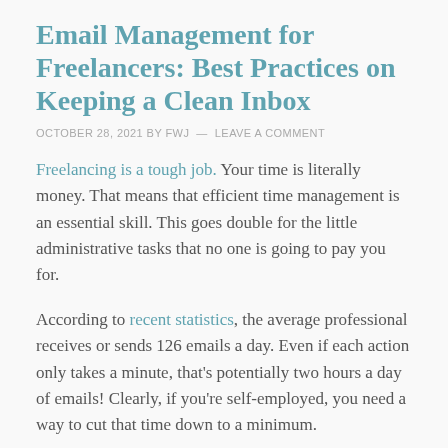Email Management for Freelancers: Best Practices on Keeping a Clean Inbox
OCTOBER 28, 2021 BY FWJ — LEAVE A COMMENT
Freelancing is a tough job. Your time is literally money. That means that efficient time management is an essential skill. This goes double for the little administrative tasks that no one is going to pay you for.
According to recent statistics, the average professional receives or sends 126 emails a day. Even if each action only takes a minute, that's potentially two hours a day of emails! Clearly, if you're self-employed, you need a way to cut that time down to a minimum.